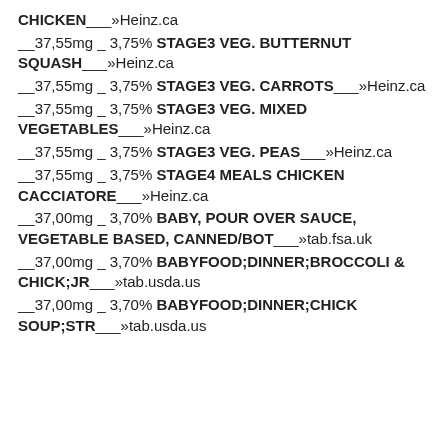CHICKEN___»Heinz.ca
__37,55mg _ 3,75% STAGE3 VEG. BUTTERNUT SQUASH___»Heinz.ca
__37,55mg _ 3,75% STAGE3 VEG. CARROTS___»Heinz.ca
__37,55mg _ 3,75% STAGE3 VEG. MIXED VEGETABLES___»Heinz.ca
__37,55mg _ 3,75% STAGE3 VEG. PEAS___»Heinz.ca
__37,55mg _ 3,75% STAGE4 MEALS CHICKEN CACCIATORE___»Heinz.ca
__37,00mg _ 3,70% BABY, POUR OVER SAUCE, VEGETABLE BASED, CANNED/BOT___»tab.fsa.uk
__37,00mg _ 3,70% BABYFOOD;DINNER;BROCCOLI & CHICK;JR___»tab.usda.us
__37,00mg _ 3,70% BABYFOOD;DINNER;CHICK SOUP;STR___»tab.usda.us